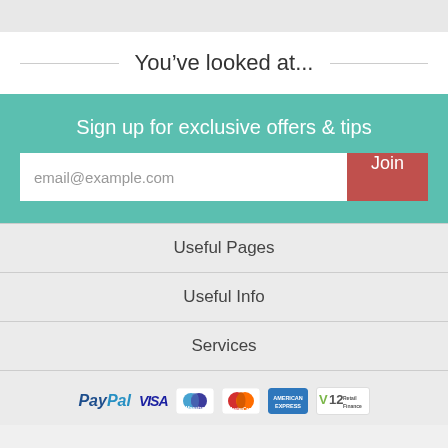You've looked at...
Sign up for exclusive offers & tips
email@example.com
Join
Useful Pages
Useful Info
Services
[Figure (logo): Payment method logos: PayPal, VISA, Maestro, MasterCard, American Express, V12 Retail Finance]